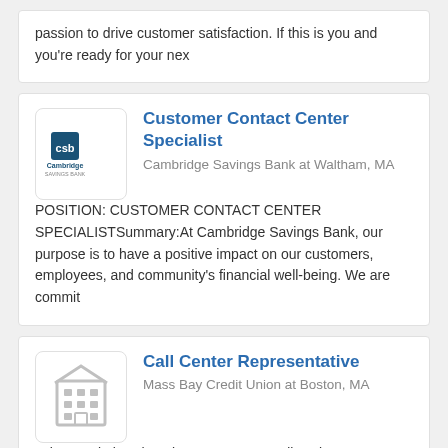passion to drive customer satisfaction. If this is you and you're ready for your nex
Customer Contact Center Specialist
Cambridge Savings Bank at Waltham, MA
POSITION: CUSTOMER CONTACT CENTER SPECIALISTSummary:At Cambridge Savings Bank, our purpose is to have a positive impact on our customers, employees, and community's financial well-being. We are commit
Call Center Representative
Mass Bay Credit Union at Boston, MA
Job DescriptionChoosing Mass Bay Credit Union means choosing to be part of a community that cares about each other and about you. Primary Function: Provides